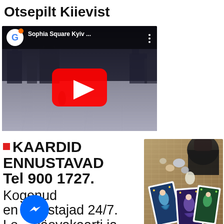Otsepilt Kiievist
[Figure (screenshot): YouTube video thumbnail showing Sophia Square Kyiv with play button overlay and Google logo in top left]
■ KAARDID ENNUSTAVAD Tel 900 1727. Kogenud ennustajad 24/7. Loe päevakaarti ja blogi ning vaata
[Figure (photo): Photo of tarot cards with crystals and other mystical items on a table]